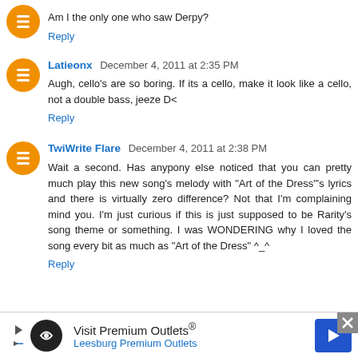Am I the only one who saw Derpy?
Reply
Latieonx  December 4, 2011 at 2:35 PM
Augh, cello's are so boring. If its a cello, make it look like a cello, not a double bass, jeeze D<
Reply
TwiWrite Flare  December 4, 2011 at 2:38 PM
Wait a second. Has anypony else noticed that you can pretty much play this new song's melody with "Art of the Dress"'s lyrics and there is virtually zero difference? Not that I'm complaining mind you. I'm just curious if this is just supposed to be Rarity's song theme or something. I was WONDERING why I loved the song every bit as much as "Art of the Dress" ^_^
Reply
[Figure (infographic): Advertisement banner for Visit Premium Outlets - Leesburg Premium Outlets with logo, navigation arrows, and close button]